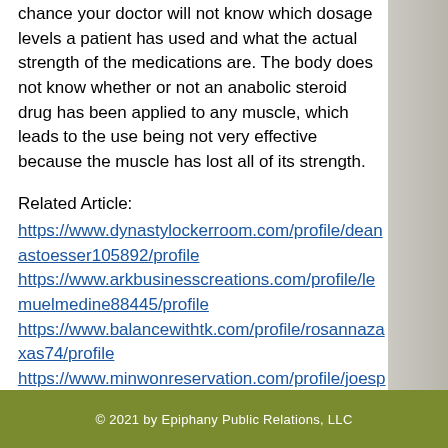chance your doctor will not know which dosage levels a patient has used and what the actual strength of the medications are. The body does not know whether or not an anabolic steroid drug has been applied to any muscle, which leads to the use being not very effective because the muscle has lost all of its strength.
Related Article: https://www.dynastylockerroom.com/profile/deanastoesser105892/profile https://www.arkbusinesscreations.com/profile/lemuelmedine88445/profile https://www.balancewithtk.com/profile/rosannazaxas74/profile https://www.minwonreservation.com/profile/joesphgaskey185329/profile
© 2021 by Epiphany Public Relations, LLC